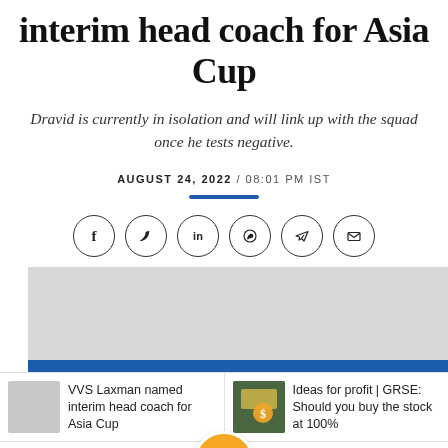interim head coach for Asia Cup
Dravid is currently in isolation and will link up with the squad once he tests negative.
AUGUST 24, 2022 / 08:01 PM IST
[Figure (infographic): Social sharing icons: Facebook, Twitter, LinkedIn, WhatsApp, Telegram, Email — circular outlined buttons]
[Figure (other): Advertisement banner placeholder, light gray rectangle with blue stripe at bottom]
VVS Laxman named interim head coach for Asia Cup
Ideas for profit | GRSE: Should you buy the stock at 100%
HOME   MARKETS   BE A PRO   NEWS   PORTFOLIO